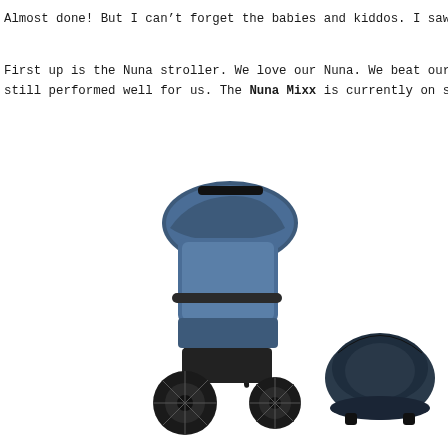Almost done! But I can't forget the babies and kiddos. I saw a few deals th
First up is the Nuna stroller. We love our Nuna. We beat our stroller/carsea still performed well for us. The Nuna Mixx is currently on sale and it come
[Figure (photo): A Nuna Mixx stroller in dark navy/blue color with black frame and large wheels, shown alongside a matching infant car seat carrier in dark navy color.]